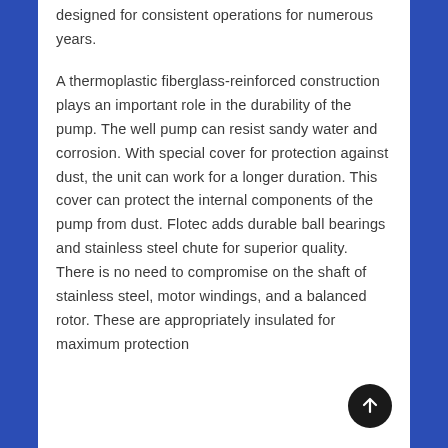designed for consistent operations for numerous years.
A thermoplastic fiberglass-reinforced construction plays an important role in the durability of the pump. The well pump can resist sandy water and corrosion. With special cover for protection against dust, the unit can work for a longer duration. This cover can protect the internal components of the pump from dust. Flotec adds durable ball bearings and stainless steel chute for superior quality.  There is no need to compromise on the shaft of stainless steel, motor windings, and a balanced rotor. These are appropriately insulated for maximum protection